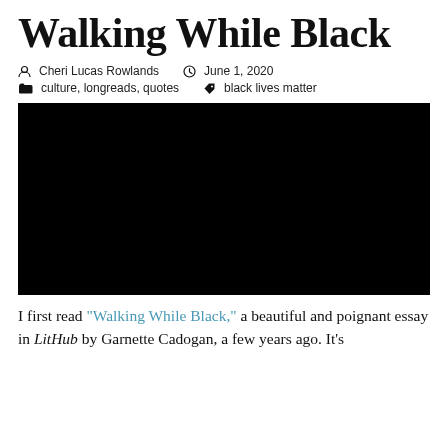Walking While Black
Cheri Lucas Rowlands   June 1, 2020
culture, longreads, quotes   black lives matter
[Figure (other): Black rectangle representing an embedded video player with black background]
I first read “Walking While Black,” a beautiful and poignant essay in LitHub by Garnette Cadogan, a few years ago. It’s